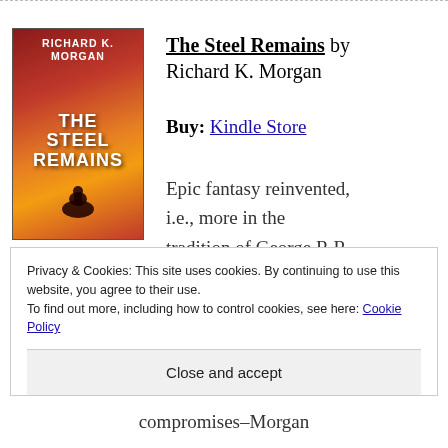[Figure (illustration): Book cover of 'The Steel Remains' by Richard K. Morgan, featuring a dark red and orange background with a silhouette of a figure on horseback]
The Steel Remains by Richard K. Morgan
Buy: Kindle Store
Epic fantasy reinvented, i.e., more in the tradition of George R.R. Martin rather than J.R.R.
Privacy & Cookies: This site uses cookies. By continuing to use this website, you agree to their use.
To find out more, including how to control cookies, see here: Cookie Policy
Close and accept
compromises–Morgan